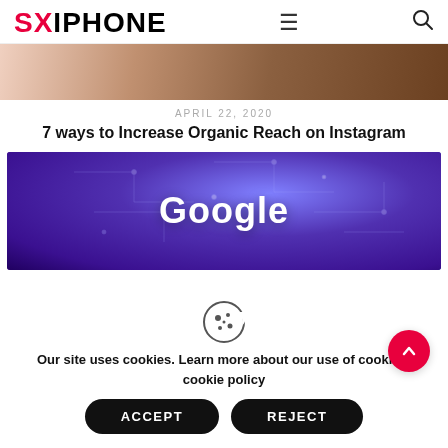SXIPHONE
[Figure (photo): Partial view of a hero image showing what appears to be a person near a wooden surface]
APRIL 22, 2020
7 ways to Increase Organic Reach on Instagram
[Figure (photo): Purple/blue digital brain circuit image with Google logo text overlaid in white]
Our site uses cookies. Learn more about our use of cookies: cookie policy
ACCEPT
REJECT